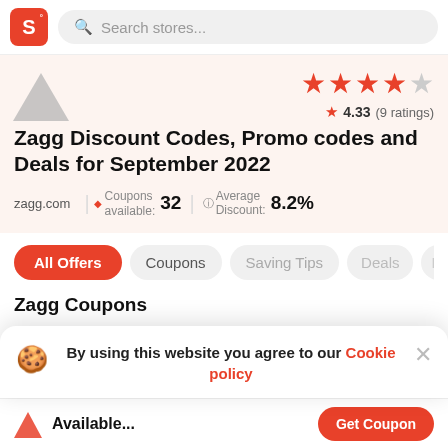S  Search stores...
[Figure (screenshot): Zagg store logo placeholder (grey triangle)]
[Figure (infographic): Star rating: 4 filled orange stars and 1 empty star; 4.33 (9 ratings)]
Zagg Discount Codes, Promo codes and Deals for September 2022
zagg.com | Coupons available: 32 | Average Discount: 8.2%
All Offers  Coupons  Saving Tips  Deals  Pr
Zagg Coupons
By using this website you agree to our Cookie policy
Available...  Get Coupon